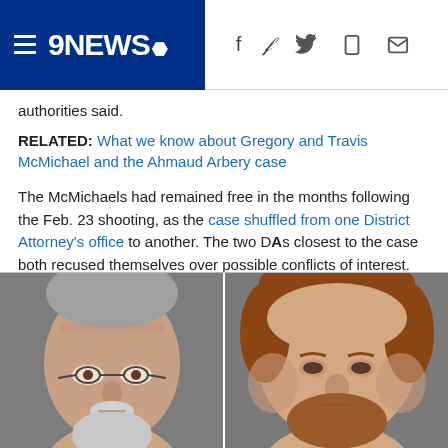9NEWS
authorities said.
RELATED: What we know about Gregory and Travis McMichael and the Ahmaud Arbery case
The McMichaels had remained free in the months following the Feb. 23 shooting, as the case shuffled from one District Attorney's office to another. The two DAs closest to the case both recused themselves over possible conflicts of interest.
[Figure (photo): Mugshot photos of two men side by side — left: older white male with glasses and white beard/mustache, right: younger heavyset white male with reddish-brown beard]